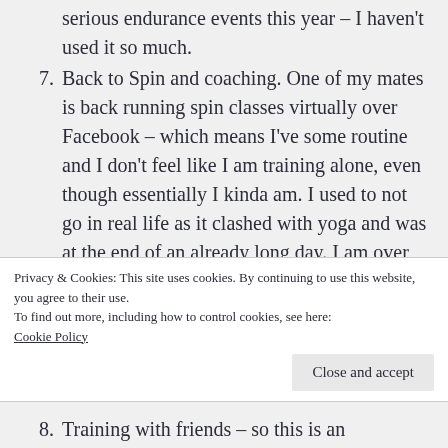serious endurance events this year – I haven't used it so much.
7. Back to Spin and coaching. One of my mates is back running spin classes virtually over Facebook – which means I've some routine and I don't feel like I am training alone, even though essentially I kinda am. I used to not go in real life as it clashed with yoga and was at the end of an already long day. I am over the moon that they are back! Coupled with conversation with PT
Privacy & Cookies: This site uses cookies. By continuing to use this website, you agree to their use.
To find out more, including how to control cookies, see here:
Cookie Policy
Close and accept
8. Training with friends – so this is an